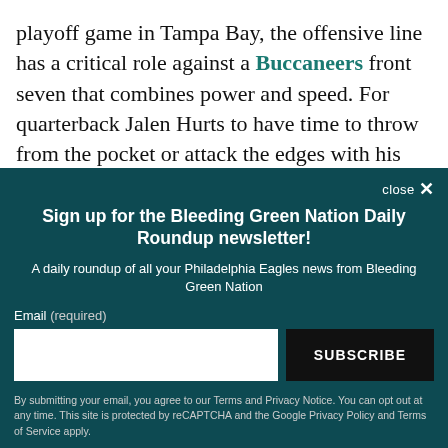playoff game in Tampa Bay, the offensive line has a critical role against a Buccaneers front seven that combines power and speed. For quarterback Jalen Hurts to have time to throw from the pocket or attack the edges with his legs, for the running back corps to have lanes between the tackles, the offensive line has
close ×
Sign up for the Bleeding Green Nation Daily Roundup newsletter!
A daily roundup of all your Philadelphia Eagles news from Bleeding Green Nation
Email (required)
SUBSCRIBE
By submitting your email, you agree to our Terms and Privacy Notice. You can opt out at any time. This site is protected by reCAPTCHA and the Google Privacy Policy and Terms of Service apply.